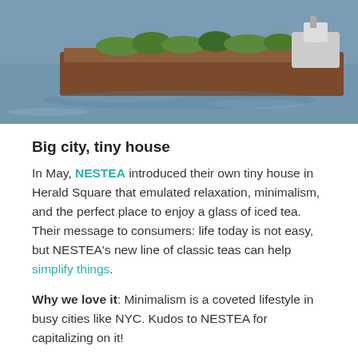[Figure (photo): Aerial or elevated view of a barge or boat with green vegetation on top, traveling on a river or harbor, with a tugboat visible at the rear.]
Big city, tiny house
In May, NESTEA introduced their own tiny house in Herald Square that emulated relaxation, minimalism, and the perfect place to enjoy a glass of iced tea. Their message to consumers: life today is not easy, but NESTEA's new line of classic teas can help simplify things.
Why we love it: Minimalism is a coveted lifestyle in busy cities like NYC. Kudos to NESTEA for capitalizing on it!
[Figure (photo): Partial photo at the bottom of the page showing a blurred green and teal background, likely featuring iced tea or nature imagery.]